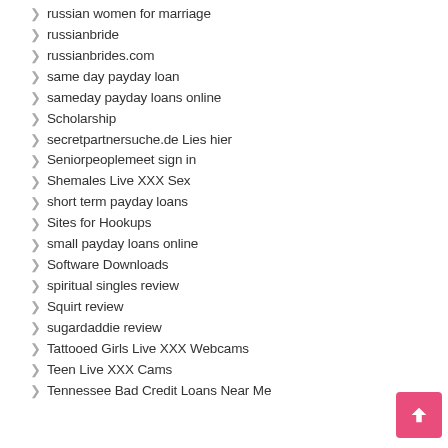russian women for marriage
russianbride
russianbrides.com
same day payday loan
sameday payday loans online
Scholarship
secretpartnersuche.de Lies hier
Seniorpeoplemeet sign in
Shemales Live XXX Sex
short term payday loans
Sites for Hookups
small payday loans online
Software Downloads
spiritual singles review
Squirt review
sugardaddie review
Tattooed Girls Live XXX Webcams
Teen Live XXX Cams
Tennessee Bad Credit Loans Near Me